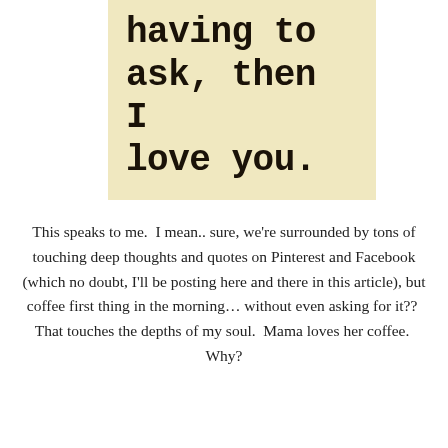[Figure (illustration): Cream/tan colored card with large bold monospace text reading 'having to ask, then I love you.' — the bottom portion of a quote]
This speaks to me.  I mean.. sure, we're surrounded by tons of touching deep thoughts and quotes on Pinterest and Facebook (which no doubt, I'll be posting here and there in this article), but coffee first thing in the morning… without even asking for it??  That touches the depths of my soul.  Mama loves her coffee.  Why?